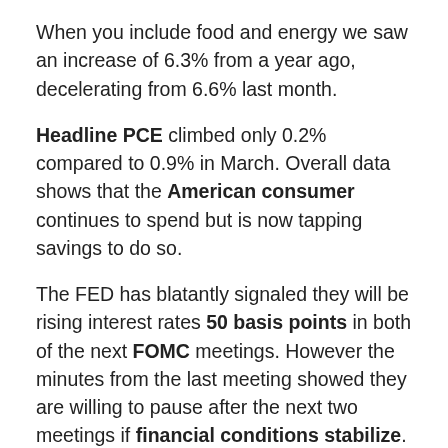When you include food and energy we saw an increase of 6.3% from a year ago, decelerating from 6.6% last month.
Headline PCE climbed only 0.2% compared to 0.9% in March. Overall data shows that the American consumer continues to spend but is now tapping savings to do so.
The FED has blatantly signaled they will be rising interest rates 50 basis points in both of the next FOMC meetings. However the minutes from the last meeting showed they are willing to pause after the next two meetings if financial conditions stabilize.
The FED has a dual mandate from Congress to “promote effectively the goals of maximum employment, stable prices, and moderate long term interest rates” in other words their policy needs to both promote maximum